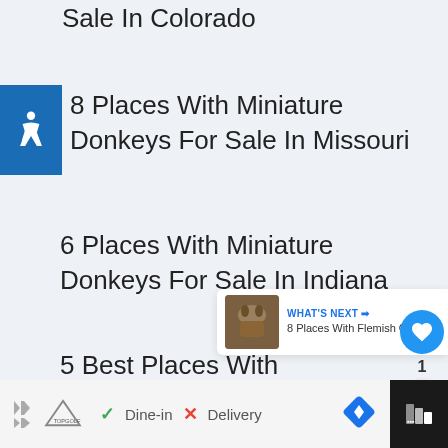Sale In Colorado
8 Places With Miniature Donkeys For Sale In Missouri
6 Places With Miniature Donkeys For Sale In Indiana
5 Best Places With Miniature Donkeys For Sale In Virginia
[Figure (infographic): WHAT'S NEXT arrow label with thumbnail image and text: 8 Places With Flemish Gia...]
[Figure (screenshot): Advertisement bar with Topgolf logo, Dine-in checkmark, Delivery X mark, navigation diamond icon]